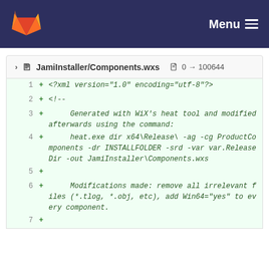GitLab navigation bar with Menu
JamiInstaller/Components.wxs  0 → 100644
1  + <?xml version="1.0" encoding="utf-8"?>
2  + <!--
3  +     Generated with WiX's heat tool and modified afterwards using the command:
4  +     heat.exe dir x64\Release\ -ag -cg ProductComponents -dr INSTALLFOLDER -srd -var var.ReleaseDir -out JamiInstaller\Components.wxs
5  + 
6  +     Modifications made: remove all irrelevant files (*.tlog, *.obj, etc), add Win64="yes" to every component.
7  +